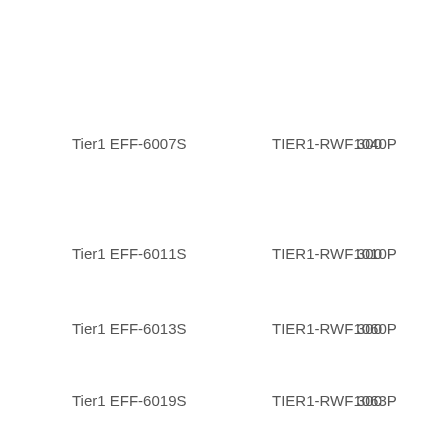Tier1 EFF-6007S    TIER1-RWF1040P    300
Tier1 EFF-6011S    TIER1-RWF1010P    300
Tier1 EFF-6013S    TIER1-RWF1060P    300
Tier1 EFF-6019S    TIER1-RWF1063P    300